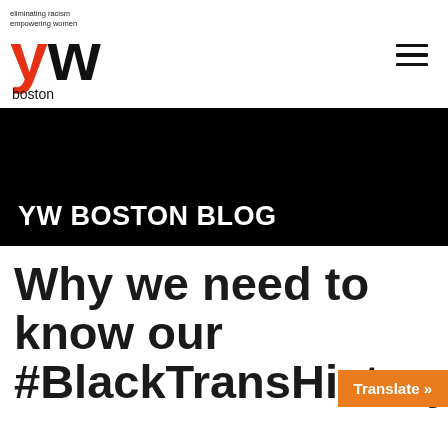eliminating racism empowering women | yw boston
YW BOSTON BLOG
Why we need to know our #BlackTransHistory
Translate »